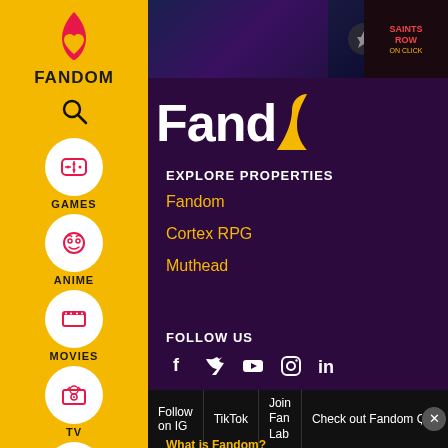[Figure (screenshot): Fandom website screenshot with left yellow sidebar navigation and dark purple main content area showing Explore Properties and Follow Us sections]
FANDOM
GAMES
ANIME
MOVIES
TV
VIDEO
Fand
EXPLORE PROPERTIES
Fandom
Cortex RPG
Muthead
FOLLOW US
Follow on IG  |  TikTok  |  Join Fan Lab  |  Check out Fandom Quizzes and cha
What is Fandom?